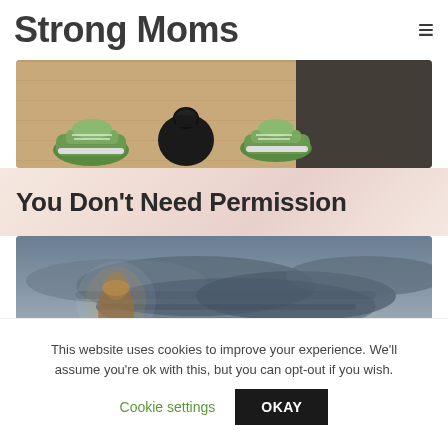Strong Moms
[Figure (photo): Gym floor with kettlebell and green sneakers on wooden floor with dark exercise mat]
You Don't Need Permission
[Figure (photo): Blurry image of a trophy or figurine in front of a dramatic stormy sky with clouds]
This website uses cookies to improve your experience. We'll assume you're ok with this, but you can opt-out if you wish.
Cookie settings   OKAY